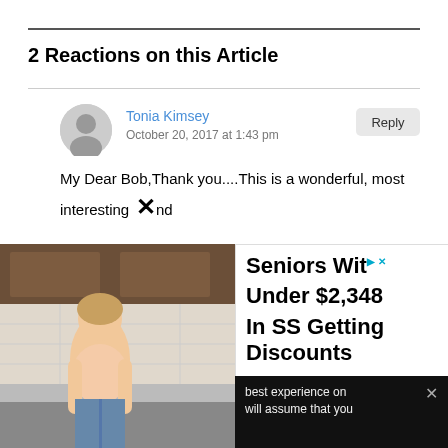2 Reactions on this Article
Tonia Kimsey
October 20, 2017 at 1:43 pm
My Dear Bob,Thank you....This is a wonderful, most interesting, and
[Figure (infographic): Advertisement overlay: 'Seniors With... Under $2,348 In SS Getting Discounts. Those who get less than $2,348 every month with SS are taking advantage of discounts to pay bills.' with Open button and YourPennySaver branding, plus a photo of a woman in a kitchen.]
best experience on
will assume that you
:41 am